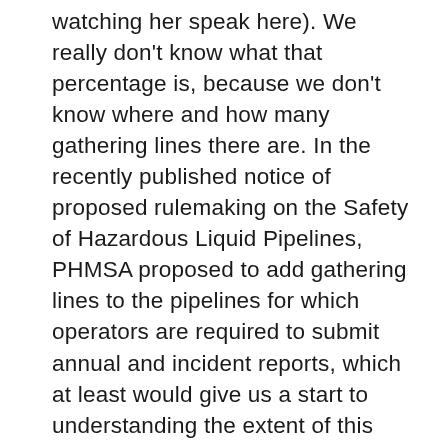watching her speak here). We really don't know what that percentage is, because we don't know where and how many gathering lines there are. In the recently published notice of proposed rulemaking on the Safety of Hazardous Liquid Pipelines, PHMSA proposed to add gathering lines to the pipelines for which operators are required to submit annual and incident reports, which at least would give us a start to understanding the extent of this issue. Years ago, gathering lines were small diameter, low pressure pipelines that did not appear to cause much of a risk; but today gathering lines can be 42″ diameter very high pressure lines that aren't any different in their risk profile from transmission